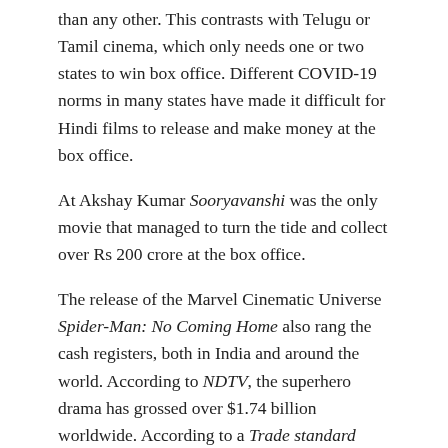than any other. This contrasts with Telugu or Tamil cinema, which only needs one or two states to win box office. Different COVID-19 norms in many states have made it difficult for Hindi films to release and make money at the box office.
At Akshay Kumar Sooryavanshi was the only movie that managed to turn the tide and collect over Rs 200 crore at the box office.
The release of the Marvel Cinematic Universe Spider-Man: No Coming Home also rang the cash registers, both in India and around the world. According to NDTV, the superhero drama has grossed over $1.74 billion worldwide. According to a Trade standard report, the film has grossed over Rs 249 crore in India, making it the second highest earner of 2021 after Pushpa: Ascension.
Related Posts:
'F9' offers a glimmer of hope for AMC and other movie chains, but only a glimmer